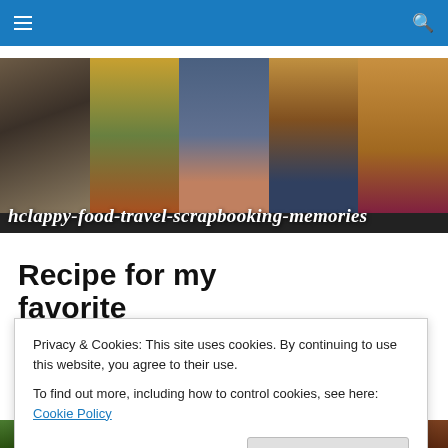Navigation bar with hamburger menu and search icon
[Figure (photo): Blog banner with collage of photos: cat, pizza, two people, sunset, cookie/peanut butter heart. Text overlay: hclappy-food-travel-scrapbooking-memories]
Recipe for my favorite homemade pizza
Privacy & Cookies: This site uses cookies. By continuing to use this website, you agree to their use.
To find out more, including how to control cookies, see here: Cookie Policy
Close and accept